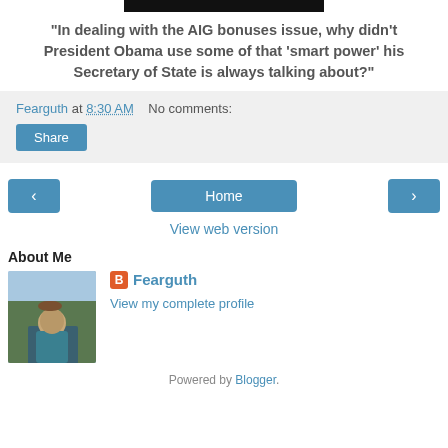[Figure (photo): Partial image at top of page, mostly black/dark]
"In dealing with the AIG bonuses issue, why didn't President Obama use some of that 'smart power' his Secretary of State is always talking about?"
Fearguth at 8:30 AM   No comments:
Share
< Home >
View web version
About Me
[Figure (photo): Profile photo of person outdoors in mountains]
Fearguth
View my complete profile
Powered by Blogger.